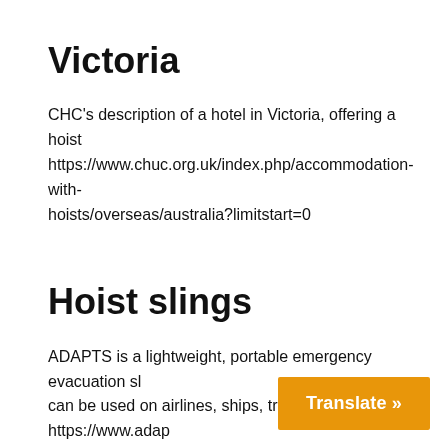Victoria
CHC's description of a hotel in Victoria, offering a hoist https://www.chuc.org.uk/index.php/accommodation-with-hoists/overseas/australia?limitstart=0
Hoist slings
ADAPTS is a lightweight, portable emergency evacuation sl... can be used on airlines, ships, trains etc. https://www.adap...